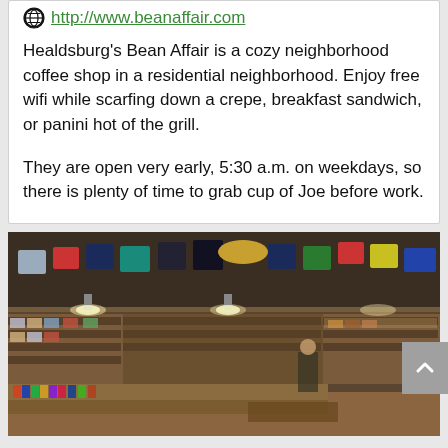http://www.beanaffair.com
Healdsburg's Bean Affair is a cozy neighborhood coffee shop in a residential neighborhood. Enjoy free wifi while scarfing down a crepe, breakfast sandwich, or panini hot of the grill.
They are open very early, 5:30 a.m. on weekdays, so there is plenty of time to grab cup of Joe before work.
[Figure (photo): Interior of a retail store with colorful t-shirts and merchandise hanging from the ceiling, shelves with products, and a person visible in the background.]